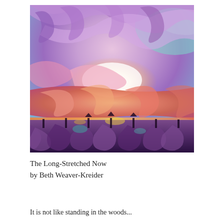[Figure (illustration): Abstract psychedelic artwork with swirling purple, orange, pink, and teal forms suggesting a surreal landscape with sky and ground elements. Rich in color and organic flowing shapes.]
The Long-Stretched Now
by Beth Weaver-Kreider
It is not like standing in the woods...